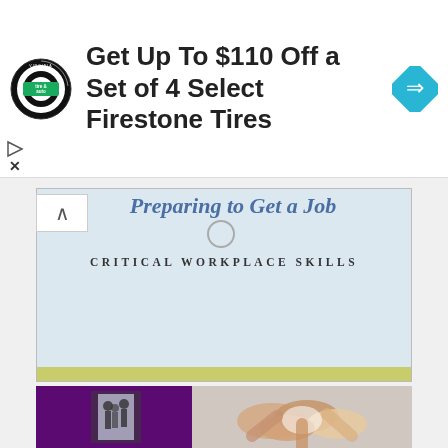[Figure (screenshot): Advertisement banner: circular tire & auto logo on left, bold text 'Get Up To $110 Off a Set of 4 Select Firestone Tires', blue diamond navigation icon on right, with play and X controls below]
Preparing to Get a Job
CRITICAL WORKPLACE SKILLS
[Figure (photo): Purple background with collage photos: people entering a building on the left, hands joined together in teamwork gesture on the right]